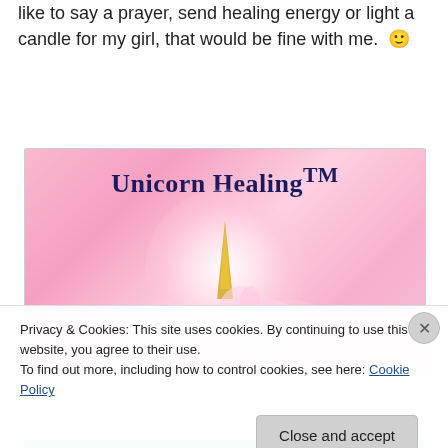like to say a prayer, send healing energy or light a candle for my girl, that would be fine with me. 🙂
[Figure (illustration): Unicorn Healing™ banner image with pink gradient background, white glowing sphere, golden horn, and unicorn head. Title reads 'Unicorn Healing™' in dark navy serif font.]
Privacy & Cookies: This site uses cookies. By continuing to use this website, you agree to their use.
To find out more, including how to control cookies, see here: Cookie Policy
Close and accept